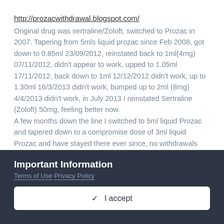http://prozacwithdrawal.blogspot.com/
Original drug was sertraline/Zoloft, switched to Prozac in 2007. Tapering from 5mls liquid prozac since Feb 2008, got down to 0.85ml 23/09/2012, reinstated back to 1ml(4mg) 07/11/2012, didn't appear to work, upped to 1.05ml 17/11/2012, back down to 1ml 12/12/2012 didn't work, up to 1.30ml 16/3/2013 didn't work, bumped up to 2ml (8mg) 4/4/2013 didn't work, in July 2013 I reinstated Sertraline (Zoloft) 50mg, feeling better now. A few months down the line I switched to 5ml liquid Prozac and tapered down to a compromise dose of 3ml liquid Prozac and have stayed there ever since, no withdrawals and no emotional blunting/loss of libido.
Important Information
Terms of Use Privacy Policy
✓ I accept